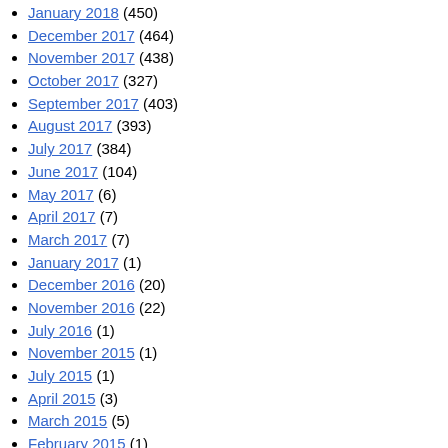January 2018 (450)
December 2017 (464)
November 2017 (438)
October 2017 (327)
September 2017 (403)
August 2017 (393)
July 2017 (384)
June 2017 (104)
May 2017 (6)
April 2017 (7)
March 2017 (7)
January 2017 (1)
December 2016 (20)
November 2016 (22)
July 2016 (1)
November 2015 (1)
July 2015 (1)
April 2015 (3)
March 2015 (5)
February 2015 (1)
January 2015 (8)
December 2014 (5)
October 2014 (9)
September 2014 (3)
August 2014 (10)